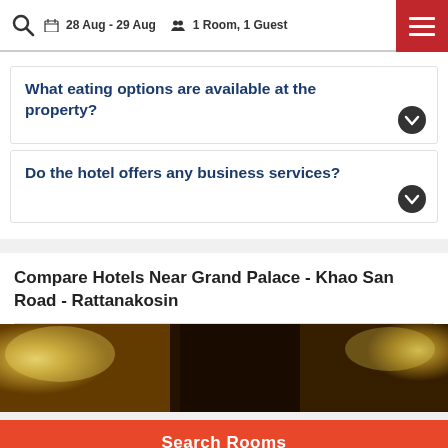28 Aug - 29 Aug  1 Room, 1 Guest
What eating options are available at the property?
Do the hotel offers any business services?
Compare Hotels Near Grand Palace - Khao San Road - Rattanakosin
[Figure (photo): Hotel interior photo strip showing golden decorative elements and dark background]
Search Rooms